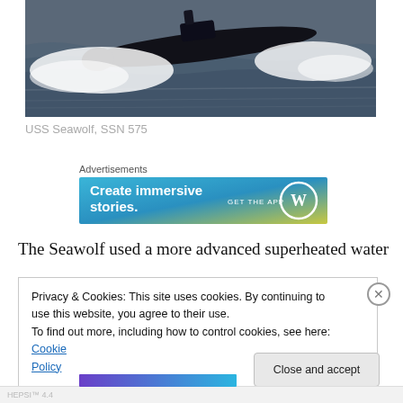[Figure (photo): Aerial photo of USS Seawolf submarine SSN 575 moving through ocean water with white wake on both sides]
USS Seawolf, SSN 575
Advertisements
[Figure (screenshot): WordPress advertisement banner: 'Create immersive stories. GET THE APP' with WordPress logo on blue-green gradient background]
The Seawolf used a more advanced superheated water
Privacy & Cookies: This site uses cookies. By continuing to use this website, you agree to their use.
To find out more, including how to control cookies, see here: Cookie Policy
Close and accept